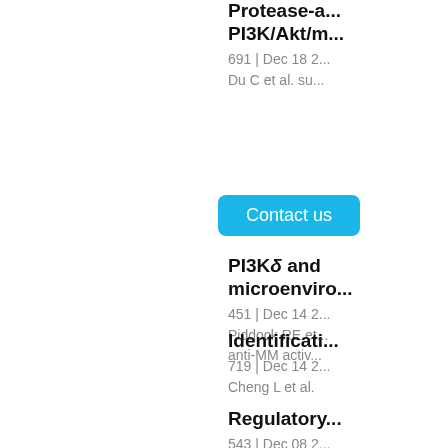Protease-a... PI3K/Akt/m... 691 | Dec 18 2... Du C et al. su...
[Figure (other): Contact us button - cyan/blue rounded rectangle UI element]
PI3Kδ and microenviro... 451 | Dec 14 2... Piddock RE et... anti-MM activ...
Identificati... 719 | Dec 14 2... Cheng L et al.
Regulatory... 543 | Dec 08 2... Hu S et al. pro...